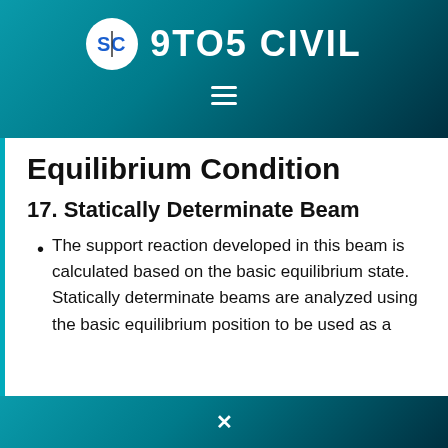9TO5 CIVIL
Equilibrium Condition
17. Statically Determinate Beam
The support reaction developed in this beam is calculated based on the basic equilibrium state. Statically determinate beams are analyzed using the basic equilibrium position to be used as a